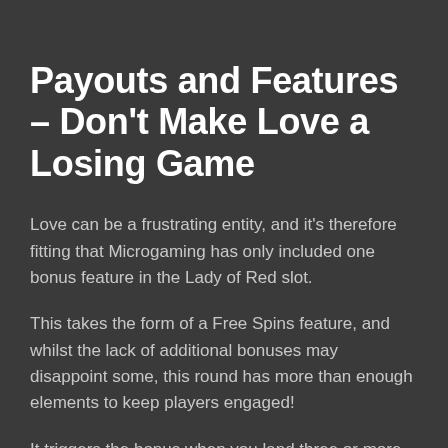Payouts and Features – Don't Make Love a Losing Game
Love can be a frustrating entity, and it's therefore fitting that Microgaming has only included one bonus feature in the Lady of Red slot.
This takes the form of a Free Spins feature, and whilst the lack of additional bonuses may disappoint some, this round has more than enough elements to keep players engaged!
It triggers the bonus when you land three or more of the game's camera scatters anywhere across the reels. Landing three, four or five cameras will unlock...